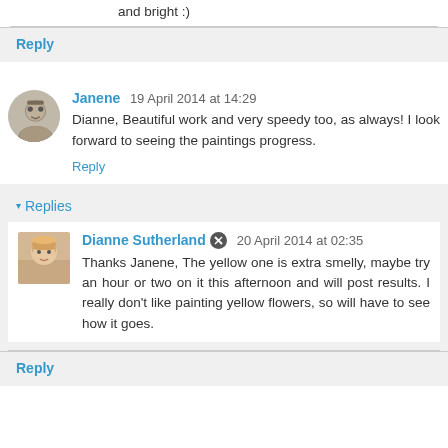and bright :)
Reply
Janene  19 April 2014 at 14:29
Dianne, Beautiful work and very speedy too, as always! I look forward to seeing the paintings progress.
Reply
▾ Replies
Dianne Sutherland  20 April 2014 at 02:35
Thanks Janene, The yellow one is extra smelly, maybe try an hour or two on it this afternoon and will post results. I really don't like painting yellow flowers, so will have to see how it goes.
Reply